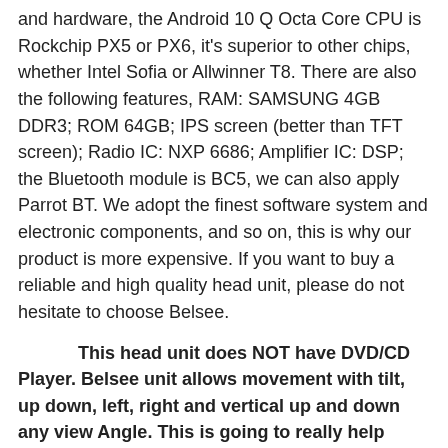and hardware, the Android 10 Q Octa Core CPU is Rockchip PX5 or PX6, it's superior to other chips, whether Intel Sofia or Allwinner T8. There are also the following features, RAM: SAMSUNG 4GB DDR3; ROM 64GB; IPS screen (better than TFT screen); Radio IC: NXP 6686; Amplifier IC: DSP; the Bluetooth module is BC5, we can also apply Parrot BT. We adopt the finest software system and electronic components, and so on, this is why our product is more expensive. If you want to buy a reliable and high quality head unit, please do not hesitate to choose Belsee.
This head unit does NOT have DVD/CD Player. Belsee unit allows movement with tilt, up down, left, right and vertical up and down any view Angle. This is going to really help